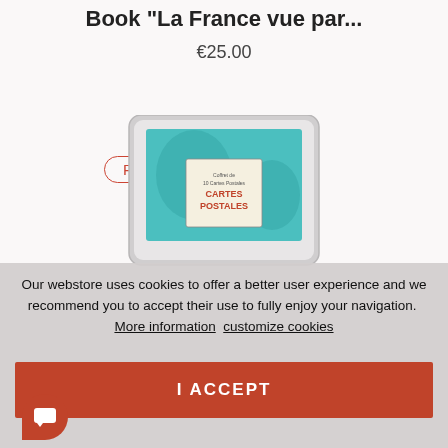Book "La France vue par...
€25.00
Pack
[Figure (photo): Product image of a postcard booklet titled 'Cartes Postales' with a teal/turquoise background, displayed inside a tablet/frame mockup]
Our webstore uses cookies to offer a better user experience and we recommend you to accept their use to fully enjoy your navigation.  More information  customize cookies
I ACCEPT